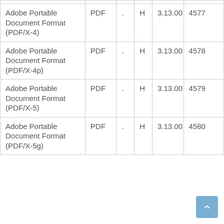|  |  |  |  |  |  |
| --- | --- | --- | --- | --- | --- |
| Adobe Portable Document Format (PDF/X-4) | PDF | . | H | 3.13.00 | 4577 |
| Adobe Portable Document Format (PDF/X-4p) | PDF | . | H | 3.13.00 | 4578 |
| Adobe Portable Document Format (PDF/X-5) | PDF | . | H | 3.13.00 | 4579 |
| Adobe Portable Document Format (PDF/X-5g) | PDF | . | H | 3.13.00 | 4580 |